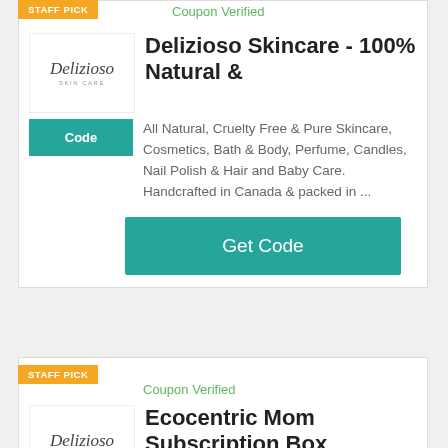STAFF PICK
Coupon Verified
[Figure (logo): Delizioso Skincare logo with italic script text]
Code
Delizioso Skincare - 100% Natural &
All Natural, Cruelty Free & Pure Skincare, Cosmetics, Bath & Body, Perfume, Candles, Nail Polish & Hair and Baby Care. Handcrafted in Canada & packed in ...
Get Code
STAFF PICK
Coupon Verified
[Figure (logo): Delizioso Skincare logo with italic script text]
Code
Ecocentric Mom Subscription Box
Jul 9, 2018 ... They promise to develop...